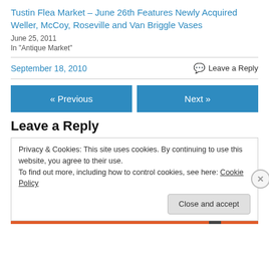Tustin Flea Market – June 26th Features Newly Acquired Weller, McCoy, Roseville and Van Briggle Vases
June 25, 2011
In "Antique Market"
September 18, 2010
Leave a Reply
« Previous
Next »
Leave a Reply
Privacy & Cookies: This site uses cookies. By continuing to use this website, you agree to their use.
To find out more, including how to control cookies, see here: Cookie Policy
Close and accept